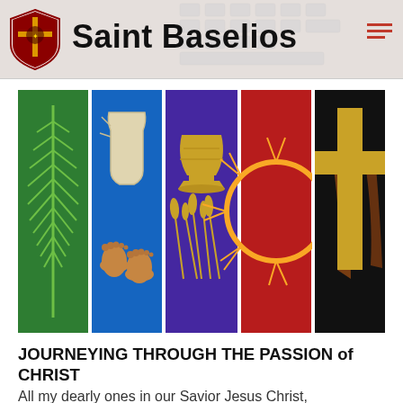Saint Baselios
[Figure (illustration): Five vertical banner panels depicting Holy Week/Passion symbols: 1) Green palm frond on green background, 2) Foot washing scene on blue background, 3) Chalice and wheat on purple background, 4) Crown of thorns on red background, 5) Cross with robe on black background]
JOURNEYING THROUGH THE PASSION of CHRIST
All my dearly ones in our Savior Jesus Christ,